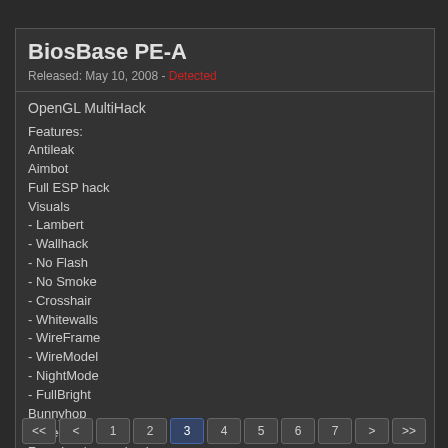BiosBase PE-A
Released: May 10, 2008 - Detected
OpenGL MultiHack
Features:
Antileak
Aimbot
Full ESP hack
Visuals
- Lambert
- Wallhack
- No Flash
- No Smoke
- Crosshair
- Whitewalls
- WireFrame
- WireModel
- NightMode
- FullBright
Bunnyhop
Speedhack
Zooming / zoom hack
Radar hack
Other Hack Stuff
Download BiosBase PE-A
Downloaded 70.462 times
<< < 1 2 3 4 5 6 7 > >>